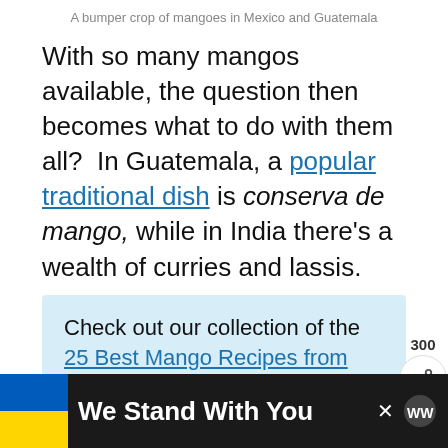A bumper crop of mangoes in Mexico and Guatemala
With so many mangos available, the question then becomes what to do with them all?  In Guatemala, a popular traditional dish is conserva de mango, while in India there's a wealth of curries and lassis.
Check out our collection of the 25 Best Mango Recipes from Around the World
When mangos are ripe, it's hard to improve on their natural perfection. I think it's fantastic to
[Figure (infographic): Ad banner at bottom: Ukraine flag colors (blue and yellow), bold white text 'We Stand With You', close X button, WW logo]